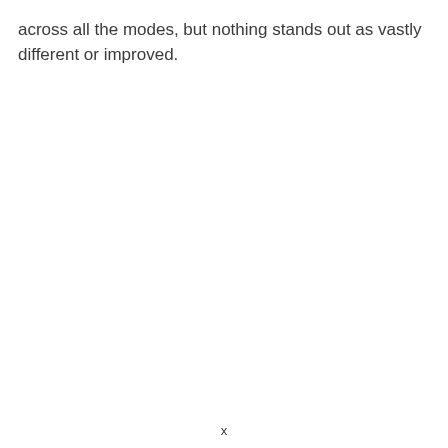across all the modes, but nothing stands out as vastly different or improved.
x